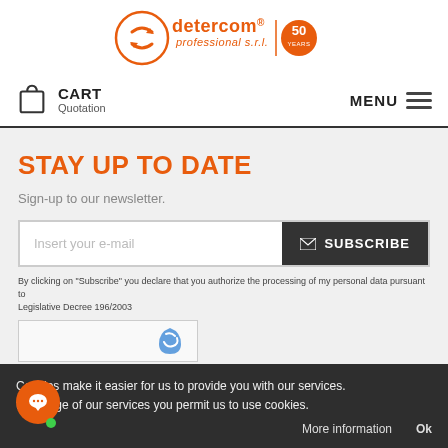[Figure (logo): Detercom Professional S.r.l. logo with orange circle arrow icon and 50 years anniversary badge]
CART
Quotation
MENU
STAY UP TO DATE
Sign-up to our newsletter.
Insert your e-mail
✉ SUBSCRIBE
By clicking on "Subscribe" you declare that you authorize the processing of my personal data pursuant to
Legislative Decree 196/2003
Cookies make it easier for us to provide you with our services. 
the usage of our services you permit us to use cookies.
More information
Ok